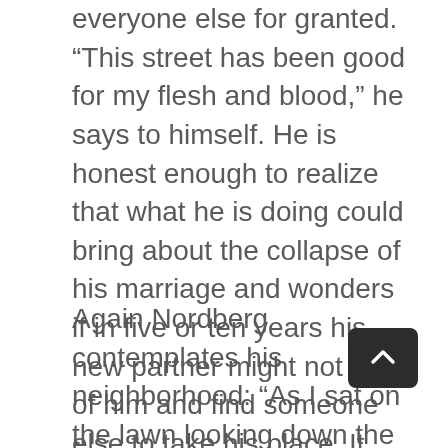everyone else for granted. “This street has been good for my flesh and blood,” he says to himself. He is honest enough to realize that what he is doing could bring about the collapse of his marriage and wonders if in five or ten years his new partner might not tire of him and find someone else to take his place. It occurs to him that adultery is not much different from horse trading.
Again Nordberg contemplates his neighborhood: “As I sat on the lawn looking down the street, I saw that we all depend on each other. I saw that although I thought my sins could be secret, that they are no more secret than an earthquake. All these houses and all these families — my infidelity would